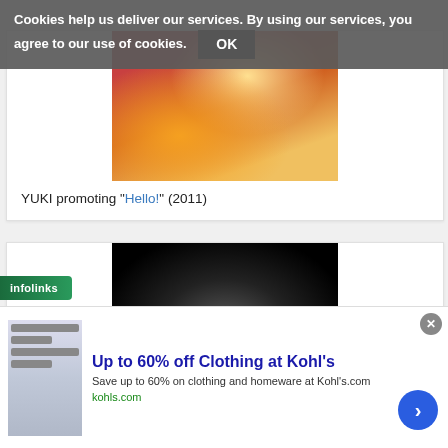Cookies help us deliver our services. By using our services, you agree to our use of cookies. OK
[Figure (photo): YUKI promoting Hello! (2011) - a young woman with long hair wearing a red and white outfit, backlit with warm golden light]
YUKI promoting "Hello!" (2011)
[Figure (photo): Black and white portrait photo of YUKI with bangs, looking directly at camera against dark background]
infolinks
Up to 60% off Clothing at Kohl's
Save up to 60% on clothing and homeware at Kohl's.com
kohls.com